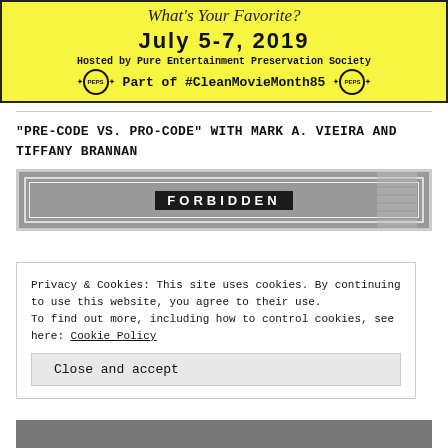[Figure (illustration): Yellow banner with script text 'What's Your Favorite?', bold date 'July 5-7, 2019', 'Hosted by Pure Entertainment Preservation Society', PEPS logos, and '#CleanMovieMonth85' hashtag text]
“PRE-CODE VS. PRO-CODE” WITH MARK A. VIEIRA AND TIFFANY BRANNAN
[Figure (photo): Partial grayscale photo with 'FORBIDDEN' text visible, decorative border frame]
Privacy & Cookies: This site uses cookies. By continuing to use this website, you agree to their use.
To find out more, including how to control cookies, see here: Cookie Policy
Close and accept